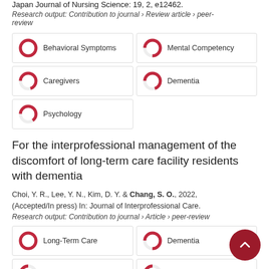Japan Journal of Nursing Science: 19, 2, e12462.
Research output: Contribution to journal › Review article › peer-review
[Figure (other): Keyword badges with donut chart icons: Behavioral Symptoms (100%), Mental Competency (75%), Caregivers (70%), Dementia (70%), Psychology (65%)]
For the interprofessional management of the discomfort of long-term care facility residents with dementia
Choi, Y. R., Lee, Y. N., Kim, D. Y. & Chang, S. O., 2022, (Accepted/In press) In: Journal of Interprofessional Care.
Research output: Contribution to journal › Article › peer-review
[Figure (other): Keyword badges with donut chart icons: Long-Term Care (100%), Dementia (75%), Knowledge Management (25%), Education (25%), Observation (15%)]